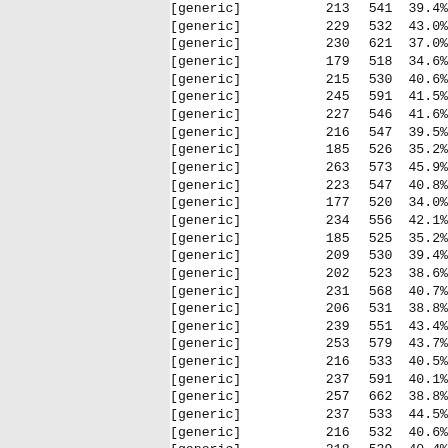| label | val1 | val2 | pct |
| --- | --- | --- | --- |
| [generic] | 213 | 541 | 39.4% |
| [generic] | 229 | 532 | 43.0% |
| [generic] | 230 | 621 | 37.0% |
| [generic] | 179 | 518 | 34.6% |
| [generic] | 215 | 530 | 40.6% |
| [generic] | 245 | 591 | 41.5% |
| [generic] | 227 | 546 | 41.6% |
| [generic] | 216 | 547 | 39.5% |
| [generic] | 185 | 526 | 35.2% |
| [generic] | 263 | 573 | 45.9% |
| [generic] | 223 | 547 | 40.8% |
| [generic] | 177 | 520 | 34.0% |
| [generic] | 234 | 556 | 42.1% |
| [generic] | 185 | 525 | 35.2% |
| [generic] | 209 | 530 | 39.4% |
| [generic] | 202 | 523 | 38.6% |
| [generic] | 231 | 568 | 40.7% |
| [generic] | 206 | 531 | 38.8% |
| [generic] | 239 | 551 | 43.4% |
| [generic] | 253 | 579 | 43.7% |
| [generic] | 216 | 533 | 40.5% |
| [generic] | 237 | 591 | 40.1% |
| [generic] | 257 | 662 | 38.8% |
| [generic] | 237 | 533 | 44.5% |
| [generic] | 216 | 532 | 40.6% |
| [generic] | 218 | 539 | 40.4% |
| [generic] | 211 | 569 | 37.1% |
| [generic] | 231 | 538 | 42.9% |
| [generic] | 210 | 530 | 39.6% |
| [generic] | 218 | 569 | 38.3% |